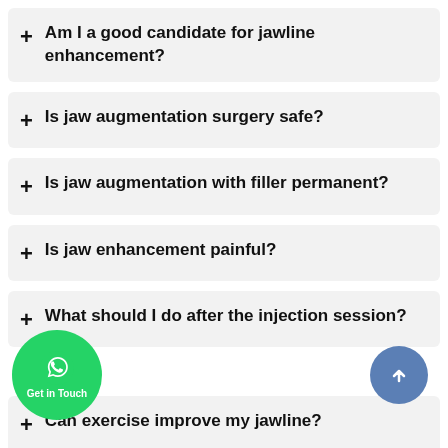+ Am I a good candidate for jawline enhancement?
+ Is jaw augmentation surgery safe?
+ Is jaw augmentation with filler permanent?
+ Is jaw enhancement painful?
+ What should I do after the injection session?
+ Can exercise improve my jawline?